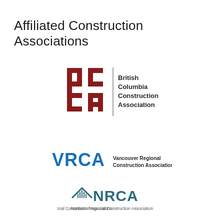Affiliated Construction Associations
[Figure (logo): BCCA logo — stylized 'bc ca' letterforms in dark red with a vertical divider line and text 'British Columbia Construction Association' in dark grey]
[Figure (logo): VRCA logo — blue block letters 'VRCA' with text 'Vancouver Regional Construction Association' in dark grey]
[Figure (logo): NRCA logo — house/building icon in dark teal blue with text 'NRCA' in large teal letters and 'Northern Regional Construction Association' below in small grey text]